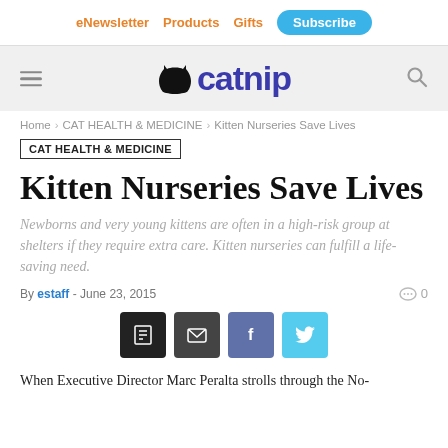eNewsletter  Products  Gifts  Subscribe
[Figure (logo): Catnip magazine logo with cat silhouette and purple text 'catnip', hamburger menu icon on left, search icon on right]
Home › CAT HEALTH & MEDICINE › Kitten Nurseries Save Lives
CAT HEALTH & MEDICINE
Kitten Nurseries Save Lives
Newborns and very young kittens are often in a high-risk group at shelters if they require extra care. Kitten nurseries can fulfill a life-saving need.
By estaff - June 23, 2015   0
[Figure (infographic): Social share buttons: print (black), email (dark), facebook (blue-grey), twitter (cyan)]
When Executive Director Marc Peralta strolls through the No-